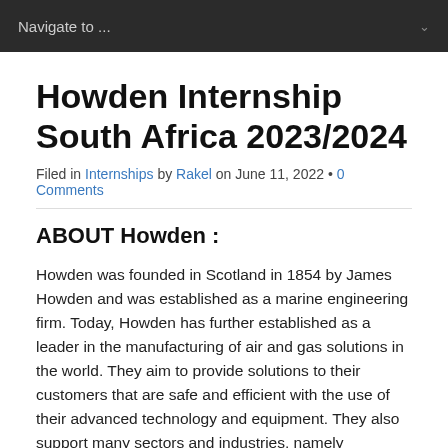Navigate to ...
Howden Internship South Africa 2023/2024
Filed in Internships by Rakel on June 11, 2022 • 0 Comments
ABOUT Howden :
Howden was founded in Scotland in 1854 by James Howden and was established as a marine engineering firm. Today, Howden has further established as a leader in the manufacturing of air and gas solutions in the world. They aim to provide solutions to their customers that are safe and efficient with the use of their advanced technology and equipment. They also support many sectors and industries, namely wastewater, transportation, metals, infrastructure, oil and gas, mining, and power generation. Howden communicated and works with a number of colleges,